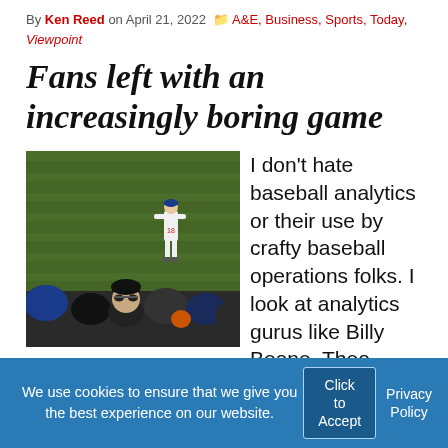By Ken Reed on April 21, 2022  A&E, Business, Sports, Today, Viewpoint
Fans left with an increasingly boring game
[Figure (photo): A baseball outfielder in white uniform standing on a green grass field, with spectators visible in the foreground wearing dark clothing and hats.]
I don't hate baseball analytics or their use by crafty baseball operations folks. I look at analytics gurus like Billy Beane, Theo Epstein and Andrew Friedman as smart guys who figured out how to exploit market
We use cookies to ensure that we give you the best experience on our website. Click to Accept  Privacy Policy